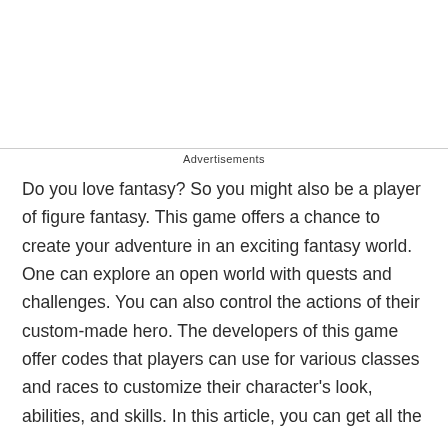Advertisements
Do you love fantasy? So you might also be a player of figure fantasy. This game offers a chance to create your adventure in an exciting fantasy world. One can explore an open world with quests and challenges. You can also control the actions of their custom-made hero. The developers of this game offer codes that players can use for various classes and races to customize their character's look, abilities, and skills. In this article, you can get all the